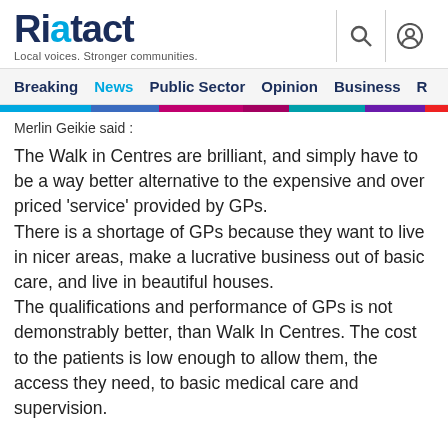Riotact — Local voices. Stronger communities.
Breaking  News  Public Sector  Opinion  Business  R
Merlin Geikie said :
The Walk in Centres are brilliant, and simply have to be a way better alternative to the expensive and over priced 'service' provided by GPs. There is a shortage of GPs because they want to live in nicer areas, make a lucrative business out of basic care, and live in beautiful houses. The qualifications and performance of GPs is not demonstrably better, than Walk In Centres. The cost to the patients is low enough to allow them, the access they need, to basic medical care and supervision.